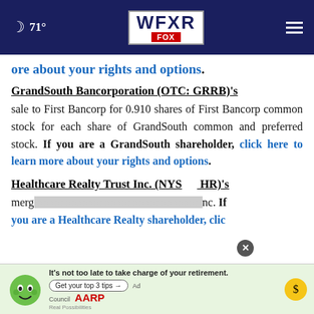WFXR FOX — 71°
ore about your rights and options.
GrandSouth Bancorporation (OTC: GRRB)'s
sale to First Bancorp for 0.910 shares of First Bancorp common stock for each share of GrandSouth common and preferred stock. If you are a GrandSouth shareholder, click here to learn more about your rights and options.
Healthcare Realty Trust Inc. (NYS HR)'s
merg... Inc. If you are a Healthcare Realty shareholder, clic
[Figure (infographic): AARP advertisement overlay: green mascot face, text 'It's not too late to take charge of your retirement. Get your top 3 tips', Ad Council logo, AARP logo, coin icon. Close button (x) visible.]